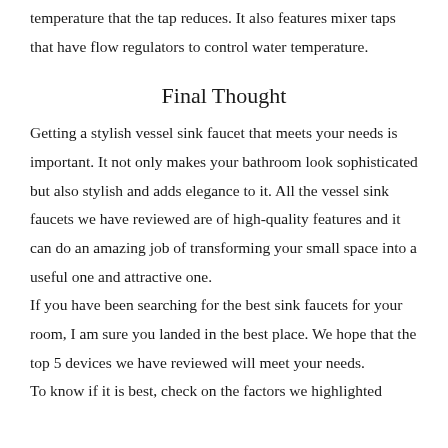temperature that the tap reduces. It also features mixer taps that have flow regulators to control water temperature.
Final Thought
Getting a stylish vessel sink faucet that meets your needs is important. It not only makes your bathroom look sophisticated but also stylish and adds elegance to it. All the vessel sink faucets we have reviewed are of high-quality features and it can do an amazing job of transforming your small space into a useful one and attractive one. If you have been searching for the best sink faucets for your room, I am sure you landed in the best place. We hope that the top 5 devices we have reviewed will meet your needs. To know if it is best, check on the factors we highlighted